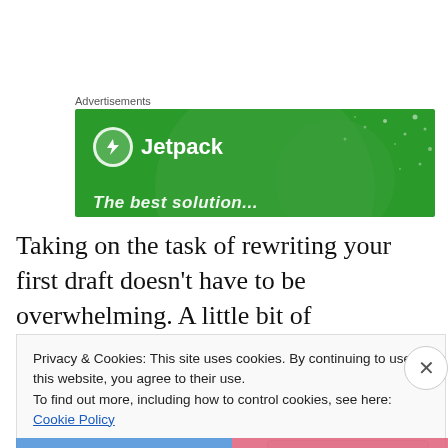Advertisements
[Figure (illustration): Jetpack advertisement banner with green background, circular shapes, white Jetpack logo with lightning bolt icon, and italic tagline text at bottom]
Taking on the task of rewriting your first draft doesn't have to be overwhelming. A little bit of organization will help you complete your rewrite without it taking forever.
Privacy & Cookies: This site uses cookies. By continuing to use this website, you agree to their use.
To find out more, including how to control cookies, see here: Cookie Policy